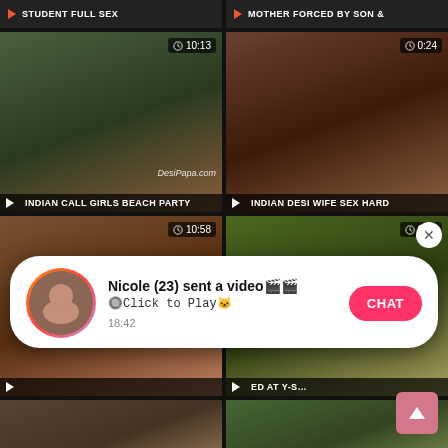[Figure (screenshot): Adult video website grid showing multiple video thumbnails with titles and durations, plus a chat notification popup overlay from 'Nicole (23)']
Nicole (23) sent a video
🔘Click to Play🐱
18:42
CHAT